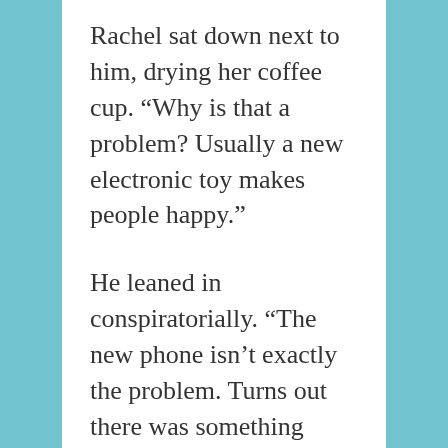Rachel sat down next to him, drying her coffee cup. “Why is that a problem? Usually a new electronic toy makes people happy.”
He leaned in conspiratorially. “The new phone isn’t exactly the problem. Turns out there was something wrong with her backup file. It got corrupted and it won’t restore to her new phone. She lost her contact list. Well, other things too, but